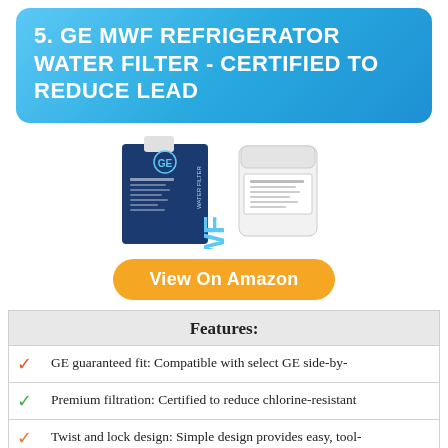5. GE MWF REFRIGERATOR WATER FILTER - CERTIFIED TO REDUCE LEAD
[Figure (photo): GE MWF refrigerator water filter product image showing the blue box packaging and white cylindrical filter canister side by side]
View On Amazon
| Features: |
| --- |
| GE guaranteed fit: Compatible with select GE side-by- |
| Premium filtration: Certified to reduce chlorine-resistant |
| Twist and lock design: Simple design provides easy, tool- |